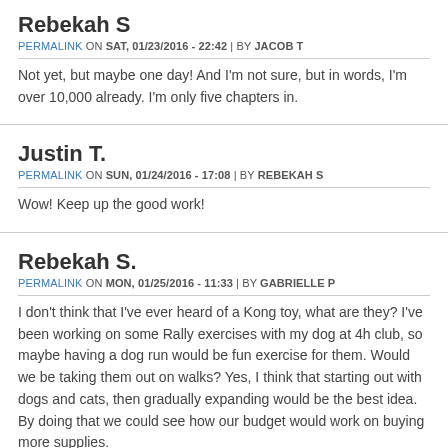Rebekah S
PERMALINK ON SAT, 01/23/2016 - 22:42 | BY JACOB T
Not yet, but maybe one day! And I'm not sure, but in words, I'm over 10,000 already. I'm only five chapters in.
Justin T.
PERMALINK ON SUN, 01/24/2016 - 17:08 | BY REBEKAH S
Wow! Keep up the good work!
Rebekah S.
PERMALINK ON MON, 01/25/2016 - 11:33 | BY GABRIELLE P
I don't think that I've ever heard of a Kong toy, what are they? I've been working on some Rally exercises with my dog at 4h club, so maybe having a dog run would be fun exercise for them. Would we be taking them out on walks? Yes, I think that starting out with dogs and cats, then gradually expanding would be the best idea. By doing that we could see how our budget would work on buying more supplies.